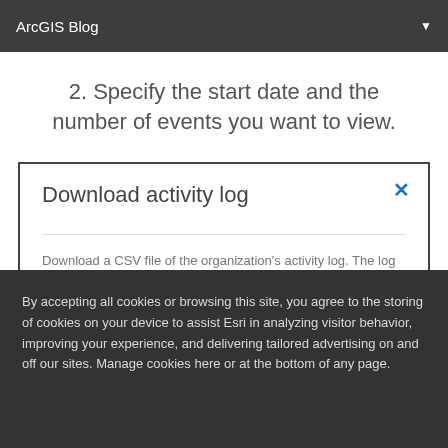ArcGIS Blog
2. Specify the start date and the number of events you want to view.
Download activity log
Download a CSV file of the organization's activity log. The log lists information on changes to the organization, its members, groups and content.
By accepting all cookies or browsing this site, you agree to the storing of cookies on your device to assist Esri in analyzing visitor behavior, improving your experience, and delivering tailored advertising on and off our sites. Manage cookies here or at the bottom of any page.